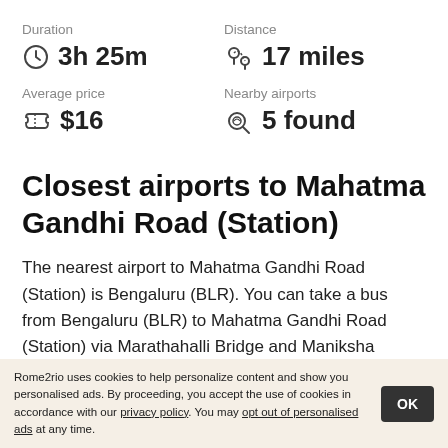Duration
3h 25m
Distance
17 miles
Average price
$16
Nearby airports
5 found
Closest airports to Mahatma Gandhi Road (Station)
The nearest airport to Mahatma Gandhi Road (Station) is Bengaluru (BLR). You can take a bus from Bengaluru (BLR) to Mahatma Gandhi Road (Station) via Marathahalli Bridge and Maniksha Parade Ground in around 3h 25m.
Rome2rio uses cookies to help personalize content and show you personalised ads. By proceeding, you accept the use of cookies in accordance with our privacy policy. You may opt out of personalised ads at any time.